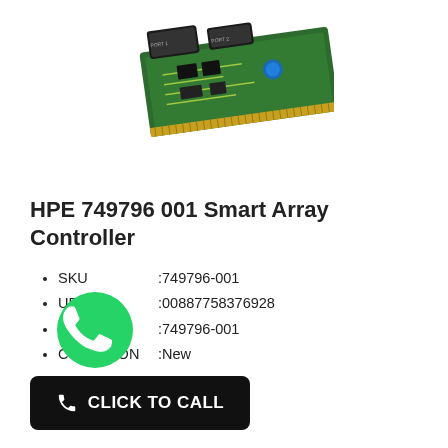[Figure (photo): Photo of HPE Smart Array Controller PCB card, green circuit board with connectors, viewed at an angle]
HPE 749796 001 Smart Array Controller
SKU       :749796-001
UPC       :00887758376928
MPN       :749796-001
CONDITION :New
[Figure (logo): WhatsApp green circular logo with phone handset icon]
CLICK TO CALL